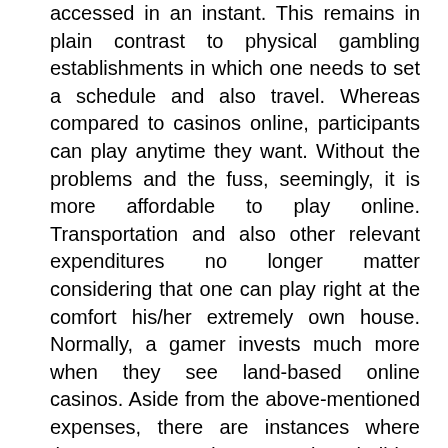accessed in an instant. This remains in plain contrast to physical gambling establishments in which one needs to set a schedule and also travel. Whereas compared to casinos online, participants can play anytime they want. Without the problems and the fuss, seemingly, it is more affordable to play online. Transportation and also other relevant expenditures no longer matter considering that one can play right at the comfort his/her extremely own house. Normally, a gamer invests much more when they see land-based online casinos. Aside from the above-mentioned expenses, there are instances where they even need to resolve holiday accommodation fees. This is most particularly true for those who originated from far-flung locations.
On the internet gambling enterprises deliver much better payout. This is not very unusual. If you contrast the expenses of a conventional online casino home to the virtual ones, it is evident that the last sustained minimal expenses review. In return, they can pay for to provide higher rewards as well as benefits. Every so often, one can see a ceremony of promos as well as tasks in online